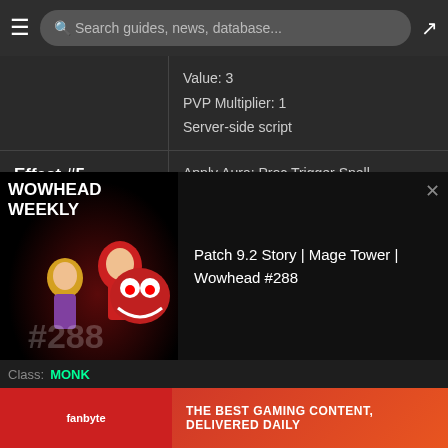Search guides, news, database...
Value: 3
PVP Multiplier: 1
Server-side script
Effect #5
Apply Aura: Proc Trigger Spell
PVP Multiplier: 1
[Figure (illustration): Blackout Combo spell icon — golden bear figure on dark background]
Blackout Combo
Flags
Is Ability
Passive spell
Cast time is hidden
[Figure (screenshot): Wowhead Weekly #288 banner overlay featuring animated characters. Title: Patch 9.2 Story | Mage Tower | Wowhead #288]
Class: MONK
[Figure (illustration): Fanbyte advertisement banner: THE BEST GAMING CONTENT, DELIVERED DAILY]